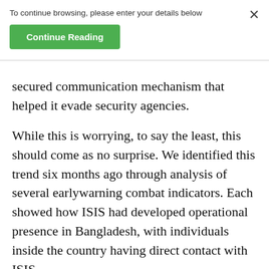To continue browsing, please enter your details below
Continue Reading
secured communication mechanism that helped it evade security agencies.
While this is worrying, to say the least, this should come as no surprise. We identified this trend six months ago through analysis of several earlywarning combat indicators. Each showed how ISIS had developed operational presence in Bangladesh, with individuals inside the country having direct contact with ISIS